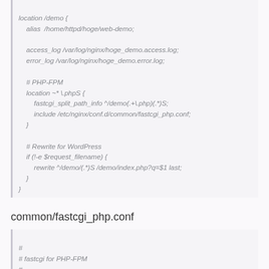location /demo {
    alias /home/httpd/hoge/web-demo;

    access_log /var/log/nginx/hoge_demo.access.log;
    error_log /var/log/nginx/hoge_demo.error.log;

    # PHP-FPM
    location ~* \.phpS {
        fastcgi_split_path_info ^/demo(.+\.php)(.*)S;
        include /etc/nginx/conf.d/common/fastcgi_php.conf;
    }

    # Rewrite for WordPress
    if (!-e $request_filename) {
        rewrite ^/demo/(.*)S /demo/index.php?q=$1 last;
    }
}
common/fastcgi_php.conf
#
# fastcgi for PHP-FPM
#
fastcgi_pass  127.0.0.1:9000;
fastcgi_index  index.php;
fastcgi_param  SCRIPT_FILENAME